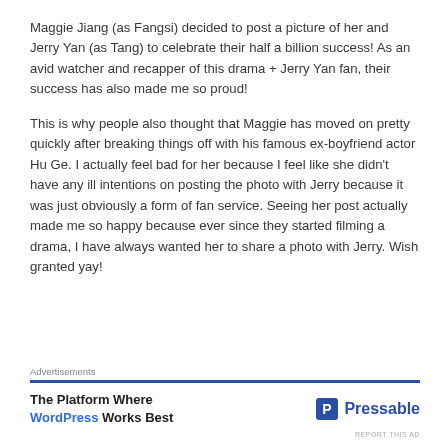Maggie Jiang (as Fangsi) decided to post a picture of her and Jerry Yan (as Tang) to celebrate their half a billion success! As an avid watcher and recapper of this drama + Jerry Yan fan, their success has also made me so proud!
This is why people also thought that Maggie has moved on pretty quickly after breaking things off with his famous ex-boyfriend actor Hu Ge. I actually feel bad for her because I feel like she didn't have any ill intentions on posting the photo with Jerry because it was just obviously a form of fan service. Seeing her post actually made me so happy because ever since they started filming a drama, I have always wanted her to share a photo with Jerry. Wish granted yay!
Advertisements
[Figure (other): Advertisement banner for Pressable WordPress hosting. Text reads 'The Platform Where WordPress Works Best' with Pressable logo on the right.]